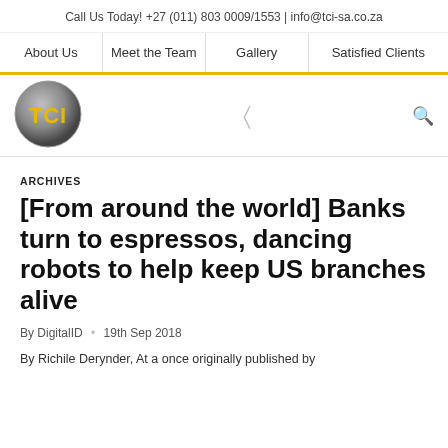Call Us Today! +27 (011) 803 0009/1553 | info@tci-sa.co.za
About Us | Meet the Team | Gallery | Satisfied Clients
[Figure (logo): TCI circular logo with gold lettering on grey gradient background]
ARCHIVES
[From around the world] Banks turn to espressos, dancing robots to help keep US branches alive
By DigitalID • 19th Sep 2018
By Richile Derynder, At a once originally published by